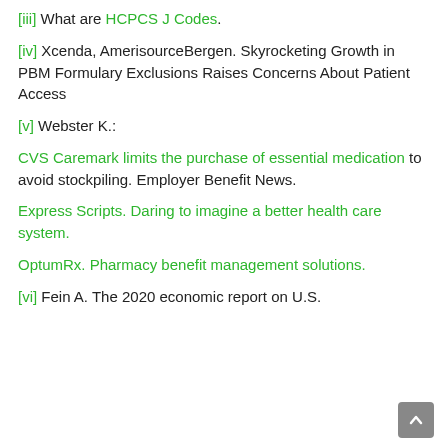[iii] What are HCPCS J Codes.
[iv] Xcenda, AmerisourceBergen. Skyrocketing Growth in PBM Formulary Exclusions Raises Concerns About Patient Access
[v] Webster K.:
CVS Caremark limits the purchase of essential medication to avoid stockpiling. Employer Benefit News.
Express Scripts. Daring to imagine a better health care system.
OptumRx. Pharmacy benefit management solutions.
[vi] Fein A. The 2020 economic report on U.S.